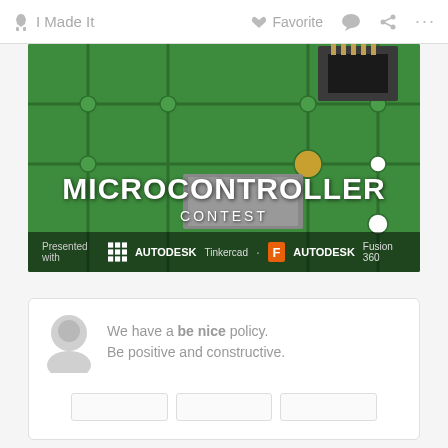I Made It   Favorite   ...
[Figure (photo): Microcontroller Contest banner image showing a green circuit board with a chip being placed by tweezers. Text reads MICROCONTROLLER CONTEST. Presented with Autodesk Tinkercad and Autodesk Fusion 360.]
We have a be nice policy. Be positive and constructive.